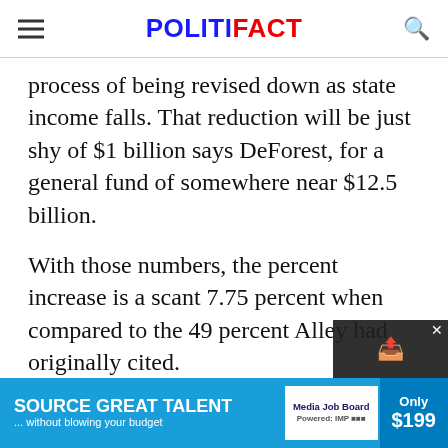POLITIFACT
process of being revised down as state income falls. That reduction will be just shy of $1 billion says DeForest, for a general fund of somewhere near $12.5 billion.
With those numbers, the percent increase is a scant 7.75 percent when compared to the 49 percent Alley had originally cited.
It’s also worth pointing out that, no matter their desire, Oregon politicians, by law, c… craft a…
[Figure (other): Advertisement bar at the bottom: SOURCE GREAT TALENT ... without blowing your budget, Media Job Board, Only $199]